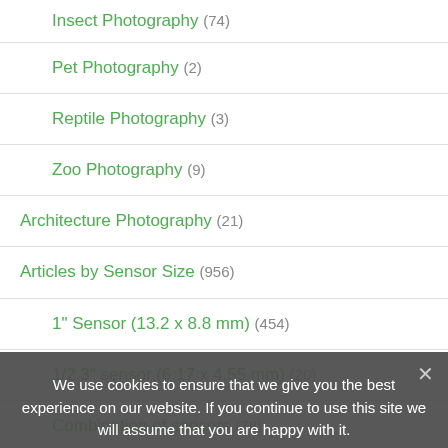Insect Photography (74)
Pet Photography (2)
Reptile Photography (3)
Zoo Photography (9)
Architecture Photography (21)
Articles by Sensor Size (956)
1" Sensor (13.2 x 8.8 mm) (454)
1/2.3" sensor (6.17 x 4.55 mm) (20)
Combination of sensors (78)
Micro 4/3 (OM-D/M.Zuiko) (409)
Auto/Truck/Aircraft Photography (11)
Bird Detection
Camera Accessories (5)
We use cookies to ensure that we give you the best experience on our website. If you continue to use this site we will assume that you are happy with it.